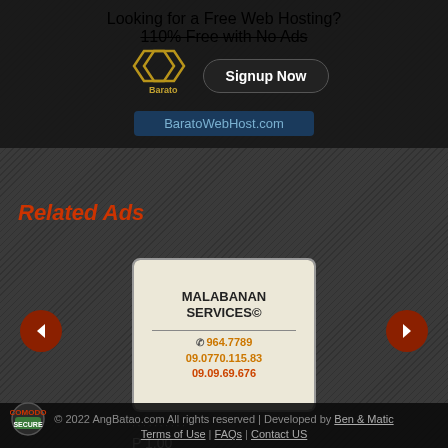Looking for a Free Web Hosting?
110% Free with No Ads
[Figure (logo): Barato logo with diamond shapes]
Signup Now
BaratoWebHost.com
Related Ads
[Figure (infographic): Malabanan Services ad with phone numbers]
P 1.00
© 2022 AngBatao.com All rights reserved | Developed by Ben & Matic
Terms of Use | FAQs | Contact US